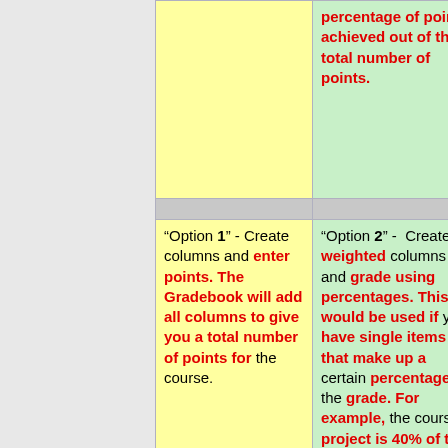|  | percentage of points achieved out of the total number of points. |
| "Option 1" - Create columns and enter points. The Gradebook will add all columns to give you a total number of points for the course. | "Option 2" - Create weighted columns and grade using percentages. This would be used if you have single items that make up a certain percentage of the grade. For example, the course project is 40% of the grade, the mid-term exam is 25% of the grade and the final exam is 35% of the grade. |
|  | "Option 3" - Create categories and |